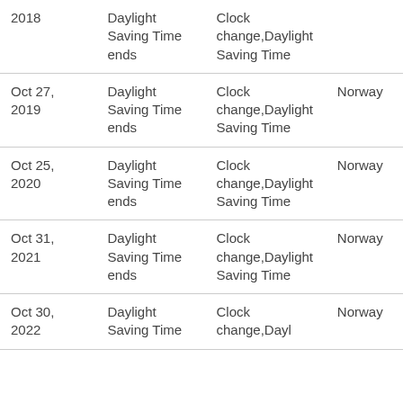| Date | Event | Tags | Location |
| --- | --- | --- | --- |
| 2018 | Daylight Saving Time ends | Clock change,Daylight Saving Time |  |
| Oct 27, 2019 | Daylight Saving Time ends | Clock change,Daylight Saving Time | Norway |
| Oct 25, 2020 | Daylight Saving Time ends | Clock change,Daylight Saving Time | Norway |
| Oct 31, 2021 | Daylight Saving Time ends | Clock change,Daylight Saving Time | Norway |
| Oct 30, 2022 | Daylight Saving Time | Clock change,Dayl | Norway |